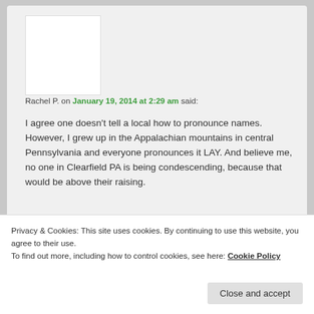Rachel P. on January 19, 2014 at 2:29 am said:
I agree one doesn't tell a local how to pronounce names. However, I grew up in the Appalachian mountains in central Pennsylvania and everyone pronounces it LAY. And believe me, no one in Clearfield PA is being condescending, because that would be above their raising.
Privacy & Cookies: This site uses cookies. By continuing to use this website, you agree to their use.
To find out more, including how to control cookies, see here: Cookie Policy